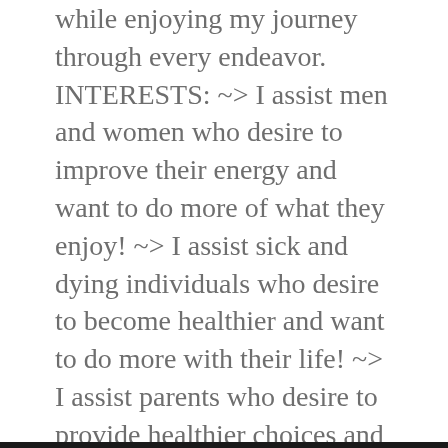while enjoying my journey through every endeavor. INTERESTS: ~> I assist men and women who desire to improve their energy and want to do more of what they enjoy! ~> I assist sick and dying individuals who desire to become healthier and want to do more with their life! ~> I assist parents who desire to provide healthier choices and want to raise healthier children! Thanks for reviewing my profile. -Edward Charfauros View all posts by Edward F. T. Charfauros